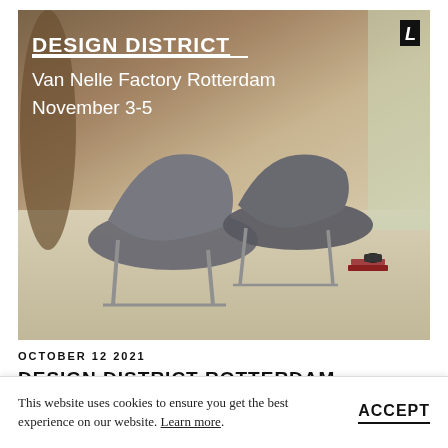[Figure (photo): Two grey upholstered lounge chairs with metal frames in a minimalist room with concrete walls and light wood floor. Text overlay reads: DESIGN DISTRICT / Van Nelle Factory Rotterdam / November 3-5]
OCTOBER 12 2021
DESIGN DISTRICT ROTTERDAM
This website uses cookies to ensure you get the best experience on our website. Learn more.
ACCEPT